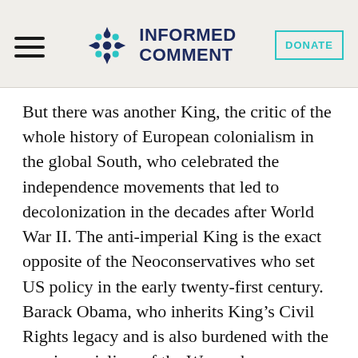INFORMED COMMENT
But there was another King, the critic of the whole history of European colonialism in the global South, who celebrated the independence movements that led to decolonization in the decades after World War II. The anti-imperial King is the exact opposite of the Neoconservatives who set US policy in the early twenty-first century. Barack Obama, who inherits King's Civil Rights legacy and is also burdened with the neo-imperialism of the W. era, has some crucial choices to make about whether he will heed the other King, or whether he will